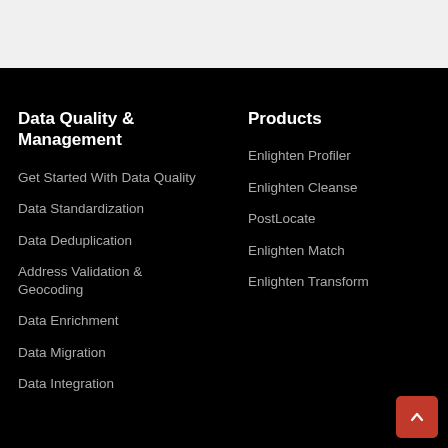Data Quality & Management
Get Started With Data Quality
Data Standardization
Data Deduplication
Address Validation & Geocoding
Data Enrichment
Data Migration
Products
Enlighten Profiler
Enlighten Cleanse
PostLocate
Enlighten Match
Enlighten Transform